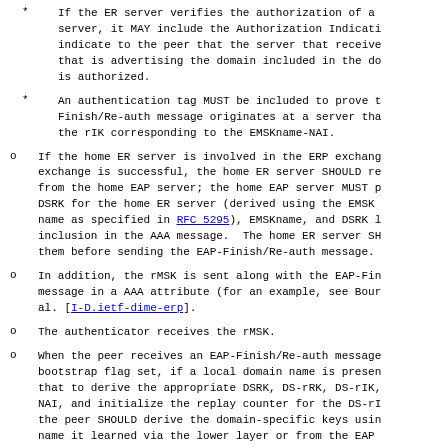* If the ER server verifies the authorization of a server, it MAY include the Authorization Indication to indicate to the peer that the server that received that is advertising the domain included in the domain is authorized.
* An authentication tag MUST be included to prove that Finish/Re-auth message originates at a server that has the rIK corresponding to the EMSKname-NAI.
o If the home ER server is involved in the ERP exchange, exchange is successful, the home ER server SHOULD request from the home EAP server; the home EAP server MUST provide DSRK for the home ER server (derived using the EMSK name as specified in RFC 5295), EMSKname, and DSRK for inclusion in the AAA message. The home ER server SHOULD them before sending the EAP-Finish/Re-auth message.
o In addition, the rMSK is sent along with the EAP-Finish message in a AAA attribute (for an example, see Bour al. [I-D.ietf-dime-erp].
o The authenticator receives the rMSK.
o When the peer receives an EAP-Finish/Re-auth message bootstrap flag set, if a local domain name is present that to derive the appropriate DSRK, DS-rRK, DS-rIK, NAI, and initialize the replay counter for the DS-rI the peer SHOULD derive the domain-specific keys using name it learned via the lower layer or from the EAP.